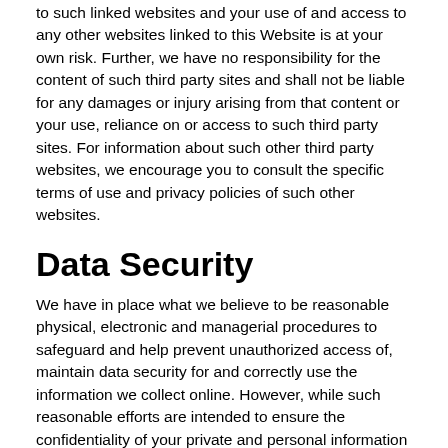to such linked websites and your use of and access to any other websites linked to this Website is at your own risk. Further, we have no responsibility for the content of such third party sites and shall not be liable for any damages or injury arising from that content or your use, reliance on or access to such third party sites. For information about such other third party websites, we encourage you to consult the specific terms of use and privacy policies of such other websites.
Data Security
We have in place what we believe to be reasonable physical, electronic and managerial procedures to safeguard and help prevent unauthorized access of, maintain data security for and correctly use the information we collect online. However, while such reasonable efforts are intended to ensure the confidentiality of your private and personal information available as a result of your use of this Website, we cannot and do not warrant or guarantee the absolute safety and security of confidential data on the Internet.
Data Collection and Use